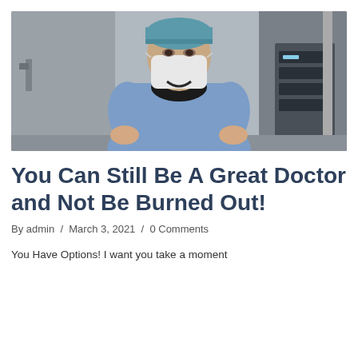[Figure (photo): A surgeon or doctor in blue scrubs wearing a surgical cap and face mask, standing with hands on hips in an operating room with medical equipment in the background.]
You Can Still Be A Great Doctor and Not Be Burned Out!
By admin / March 3, 2021 / 0 Comments
You Have Options! I want you take a moment